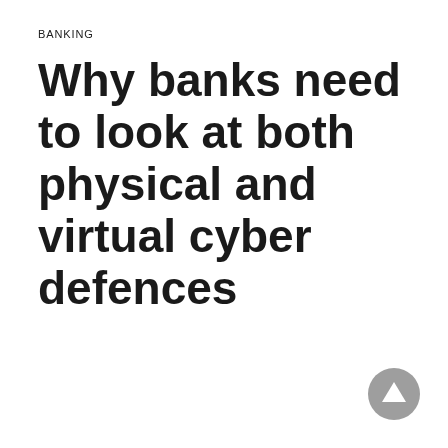BANKING
Why banks need to look at both physical and virtual cyber defences